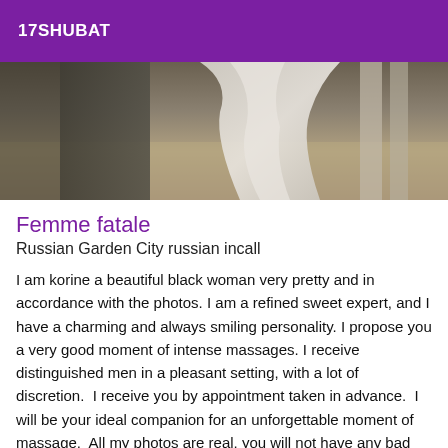17SHUBAT
[Figure (photo): Partial photo of a person in a light grey/white flowing fabric or dress, taken indoors with columns or curtains visible in the background.]
Femme fatale
Russian Garden City russian incall
I am korine a beautiful black woman very pretty and in accordance with the photos. I am a refined sweet expert, and I have a charming and always smiling personality. I propose you a very good moment of intense massages. I receive distinguished men in a pleasant setting, with a lot of discretion.  I receive you by appointment taken in advance.  I will be your ideal companion for an unforgettable moment of massage.  All my photos are real, you will not have any bad surprises.  So do not hesitate to call me....  no masked number  Kiss...